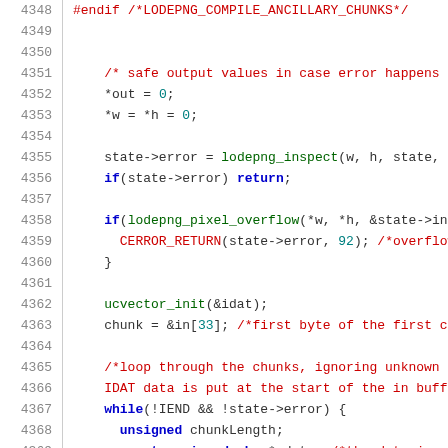Source code (C) lines 4348–4369, lodepng library
[Figure (screenshot): Syntax-highlighted C source code from lodepng library, lines 4348–4369, showing preprocessor directives, variable assignments, function calls, conditionals with comments]